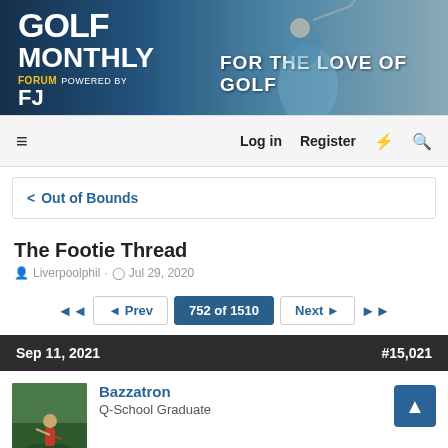[Figure (photo): Golf Monthly Forum banner powered by FootJoy. Shows a golfer swinging a club against a lush green background with text: GOLF MONTHLY, FORUM POWERED BY, FJ logo, FOR THE LOVE OF GOLF]
≡  Log in  Register  ⚡  🔍
< Out of Bounds
The Footie Thread
Liverpoolphil · Jul 29, 2020
◄◄  ◄ Prev  752 of 1510  Next ►  ►►
Sep 11, 2021  #15,021
Bazzatron
Q-School Graduate